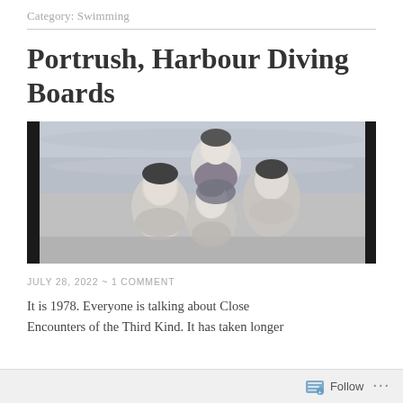Category: Swimming
Portrush, Harbour Diving Boards
[Figure (photo): Black and white photograph of four children in swimwear, wet hair, smiling, appearing to be at a harbour or pool. One child stands behind three others who are grouped together in front.]
JULY 28, 2022 ~ 1 COMMENT
It is 1978. Everyone is talking about Close Encounters of the Third Kind. It has taken longer